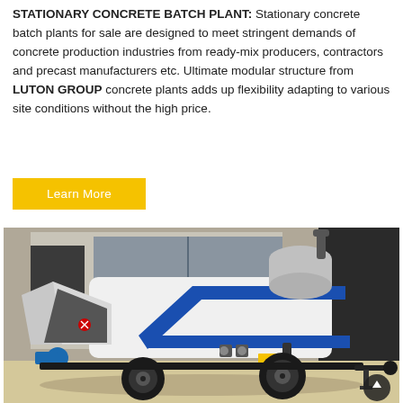STATIONARY CONCRETE BATCH PLANT: Stationary concrete batch plants for sale are designed to meet stringent demands of concrete production industries from ready-mix producers, contractors and precast manufacturers etc. Ultimate modular structure from LUTON GROUP concrete plants adds up flexibility adapting to various site conditions without the high price.
Learn More
[Figure (photo): A white concrete pump machine (trailer-mounted concrete pump) with blue stripe detailing, a large hopper on the left, cylindrical tank on top, and two wheels. Parked on a concrete surface in front of a building. A dark circular scroll-to-top button is visible in the bottom right corner of the image.]